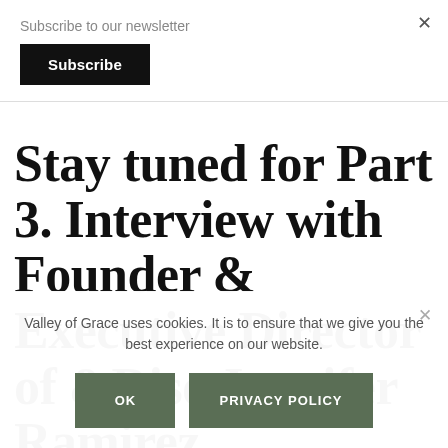Subscribe to our newsletter
Subscribe
Stay tuned for Part 3. Interview with Founder & Executive Director of &Rise Jennifer Ramirez
Valley of Grace uses cookies. It is to ensure that we give you the best experience on our website.
OK
PRIVACY POLICY